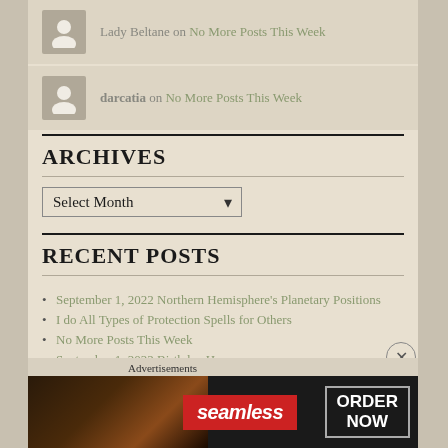Lady Beltane on No More Posts This Week
darcatia on No More Posts This Week
ARCHIVES
Select Month
RECENT POSTS
September 1, 2022 Northern Hemisphere's Planetary Positions
I do All Types of Protection Spells for Others
No More Posts This Week
September 1, 2022 Birthday Horoscope
Advertisements